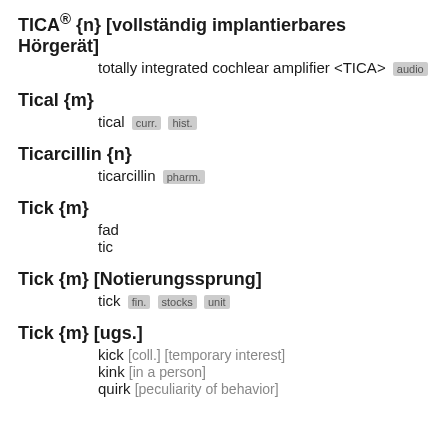TICA® {n} [vollständig implantierbares Hörgerät]
    totally integrated cochlear amplifier <TICA> [audio]
Tical {m}
    tical [curr.] [hist.]
Ticarcillin {n}
    ticarcillin [pharm.]
Tick {m}
    fad
    tic
Tick {m} [Notierungssprung]
    tick [fin.] [stocks] [unit]
Tick {m} [ugs.]
    kick [coll.] [temporary interest]
    kink [in a person]
    quirk [peculiarity of behavior]